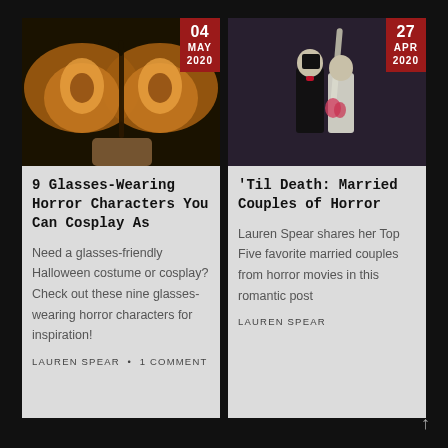[Figure (photo): Close-up photo of a moth or butterfly with orange and brown wings]
9 Glasses-Wearing Horror Characters You Can Cosplay As
Need a glasses-friendly Halloween costume or cosplay? Check out these nine glasses-wearing horror characters for inspiration!
LAUREN SPEAR  •  1 COMMENT
[Figure (photo): Photo of two skeleton figurines dressed as bride and groom standing in front of a lightning bolt]
'Til Death: Married Couples of Horror
Lauren Spear shares her Top Five favorite married couples from horror movies in this romantic post
LAUREN SPEAR